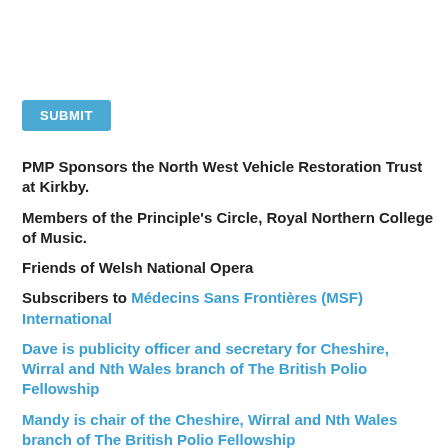[Figure (other): Blue SUBMIT button]
PMP Sponsors the North West Vehicle Restoration Trust at Kirkby.
Members of the Principle's Circle, Royal Northern College of Music.
Friends of Welsh National Opera
Subscribers to Médecins Sans Frontières (MSF) International
Dave is publicity officer and secretary for Cheshire, Wirral and Nth Wales branch of The British Polio Fellowship
Mandy is chair of the Cheshire, Wirral and Nth Wales branch of The British Polio Fellowship